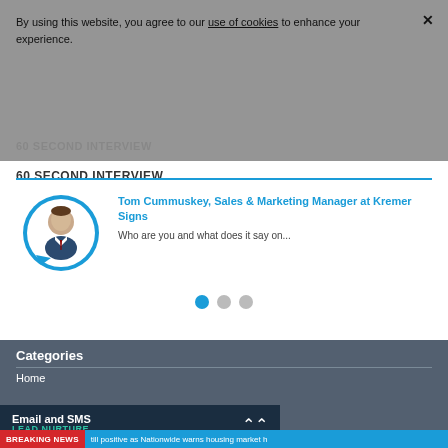By using this website, you agree to our use of cookies to enhance your experience.
60 SECOND INTERVIEW
Tom Cummuskey, Sales & Marketing Manager at Kremer Signs
Who are you and what does it say on...
[Figure (illustration): Circular speech bubble avatar with photo of man in suit]
Categories
Home
Email and SMS
LEAD NURTURE
BREAKING NEWS  till positive as Nationwide warns housing market h